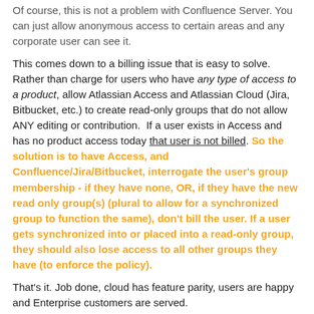Of course, this is not a problem with Confluence Server.  You can just allow anonymous access to certain areas and any corporate user can see it.
This comes down to a billing issue that is easy to solve.  Rather than charge for users who have any type of access to a product, allow Atlassian Access and Atlassian Cloud (Jira, Bitbucket, etc.) to create read-only groups that do not allow ANY editing or contribution.  If a user exists in Access and has no product access today that user is not billed. So the solution is to have Access, and Confluence/Jira/Bitbucket, interrogate the user's group membership - if they have none, OR, if they have the new read only group(s) (plural to allow for a synchronized group to function the same), don't bill the user. If a user gets synchronized into or placed into a read-only group, they should also lose access to all other groups they have (to enforce the policy).
That's it. Job done, cloud has feature parity, users are happy and Enterprise customers are served.
Otherwise, Confluence cannot replace internal things like Sharepoint 365 where general purpose information is published to an unspecified wider community. Nobody should have to be billed for browsers that can't and won't contribute.